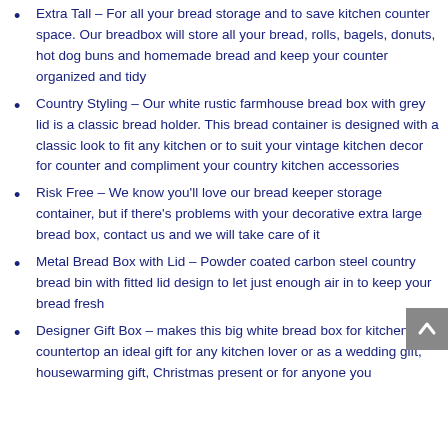Extra Tall – For all your bread storage and to save kitchen counter space. Our breadbox will store all your bread, rolls, bagels, donuts, hot dog buns and homemade bread and keep your counter organized and tidy
Country Styling – Our white rustic farmhouse bread box with grey lid is a classic bread holder. This bread container is designed with a classic look to fit any kitchen or to suit your vintage kitchen decor for counter and compliment your country kitchen accessories
Risk Free – We know you'll love our bread keeper storage container, but if there's problems with your decorative extra large bread box, contact us and we will take care of it
Metal Bread Box with Lid – Powder coated carbon steel country bread bin with fitted lid design to let just enough air in to keep your bread fresh
Designer Gift Box – makes this big white bread box for kitchen countertop an ideal gift for any kitchen lover or as a wedding gift, housewarming gift, Christmas present or for anyone you